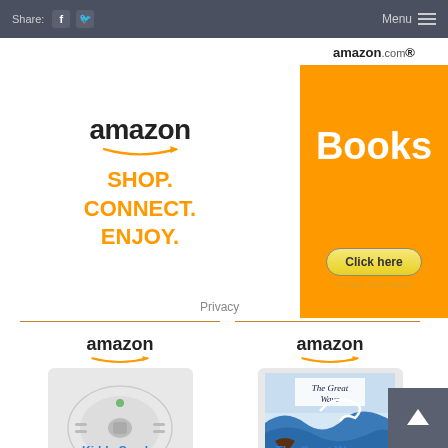Share: [facebook] [twitter]   Menu ≡
[Figure (logo): Amazon logo with 'SHOP. CONNECT. ENJOY.' slogan and Privacy link]
[Figure (logo): Amazon.com Books orange banner ad with Click here button and Privacy Information]
[Figure (logo): Amazon logo small with Kidde Smoke detector product image]
Kidde Smoke
[Figure (photo): Amazon logo small with The Great Wave book cover product image]
The Great Wave: